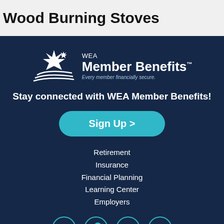Wood Burning Stoves
[Figure (logo): WEA Member Benefits logo with star/swoosh icon and tagline 'Every member financially secure.']
Stay connected with WEA Member Benefits!
Sign Up >
Retirement
Insurance
Financial Planning
Learning Center
Employers
[Figure (illustration): Social media icons: Facebook, Twitter, YouTube, LinkedIn — circular teal outlined icons on dark blue background]